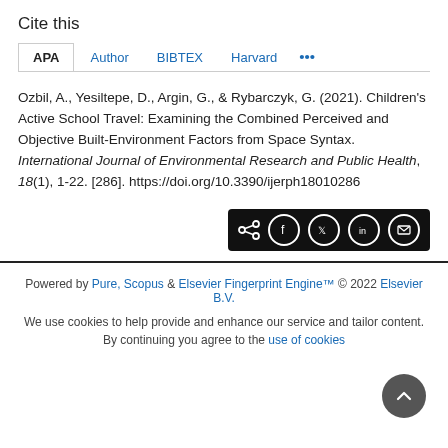Cite this
APA  Author  BIBTEX  Harvard  ...
Ozbil, A., Yesiltepe, D., Argin, G., & Rybarczyk, G. (2021). Children's Active School Travel: Examining the Combined Perceived and Objective Built-Environment Factors from Space Syntax. International Journal of Environmental Research and Public Health, 18(1), 1-22. [286]. https://doi.org/10.3390/ijerph18010286
Powered by Pure, Scopus & Elsevier Fingerprint Engine™ © 2022 Elsevier B.V.
We use cookies to help provide and enhance our service and tailor content. By continuing you agree to the use of cookies